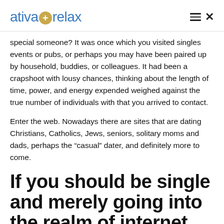ativa+relax
special someone? It was once which you visited singles events or pubs, or perhaps you may have been paired up by household, buddies, or colleagues. It had been a crapshoot with lousy chances, thinking about the length of time, power, and energy expended weighed against the true number of individuals with that you arrived to contact.
Enter the web. Nowadays there are sites that are dating Christians, Catholics, Jews, seniors, solitary moms and dads, perhaps the “casual” dater, and definitely more to come.
If you should be single and merely going into the realm of internet relationship, right right right here are a